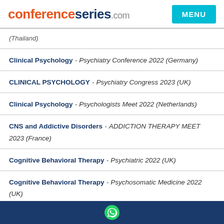conferenceseries.com
Clinical Psychology - Psychiatry Conference 2022 (Germany)
CLINICAL PSYCHOLOGY - Psychiatry Congress 2023 (UK)
Clinical Psychology - Psychologists Meet 2022 (Netherlands)
CNS and Addictive Disorders - ADDICTION THERAPY MEET 2023 (France)
Cognitive Behavioral Therapy - Psychiatric 2022 (UK)
Cognitive Behavioral Therapy - Psychosomatic Medicine 2022 (UK)
Cognitive Behavioral Therapy - CLINICAL PSYCHOLOGISTS ...